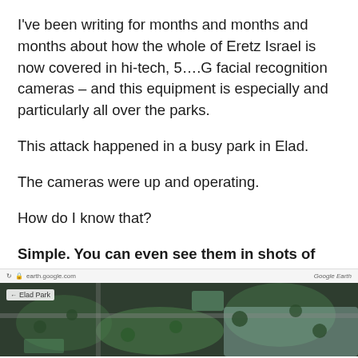I've been writing for months and months and months about how the whole of Eretz Israel is now covered in hi-tech, 5….G facial recognition cameras – and this equipment is especially and particularly all over the parks.
This attack happened in a busy park in Elad.
The cameras were up and operating.
How do I know that?
Simple. You can even see them in shots of the Ibn Gabirol St park on Google Earth, taken before Yom Ha'atzmaut:
[Figure (screenshot): Screenshot of Google Earth showing Elad Park aerial view with a browser bar showing earth.google.com and 'Google Earth' label in top right. A label 'Elad Park' with back arrow appears overlaid on the map image.]